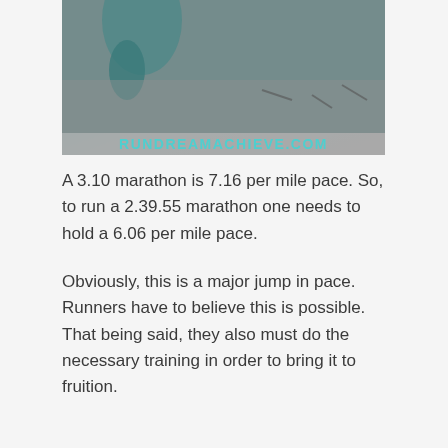[Figure (photo): A runner photographed in motion on a beach or outdoor surface, overlaid with the website name RUNDREAMACHIEVE.COM in teal/cyan bold text. The image has a grayish-teal color treatment.]
A 3.10 marathon is 7.16 per mile pace. So, to run a 2.39.55 marathon one needs to hold a 6.06 per mile pace.
Obviously, this is a major jump in pace. Runners have to believe this is possible. That being said, they also must do the necessary training in order to bring it to fruition.